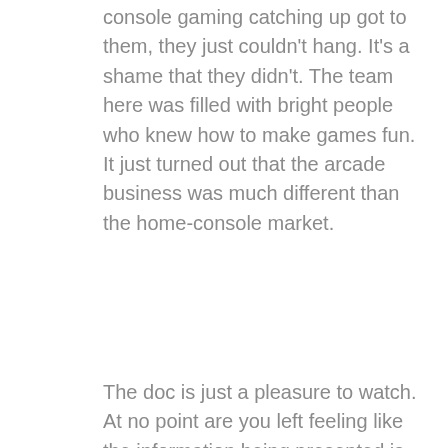console gaming catching up got to them, they just couldn't hang. It's a shame that they didn't. The team here was filled with bright people who knew how to make games fun. It just turned out that the arcade business was much different than the home-console market.
The doc is just a pleasure to watch. At no point are you left feeling like the information being presented is biased. This isn't some puff piece about the company. Midway Studios was just that magical of a place in the era.
IF YOU'RE A FAN OF VIDEO GAMES, INSERT COIN IS FOR YOU
[Figure (screenshot): Screenshot from a Mortal Kombat arcade game showing score 183000, timer 55, with SCORPION vs SUB-ZERO health bars and a pagoda background]